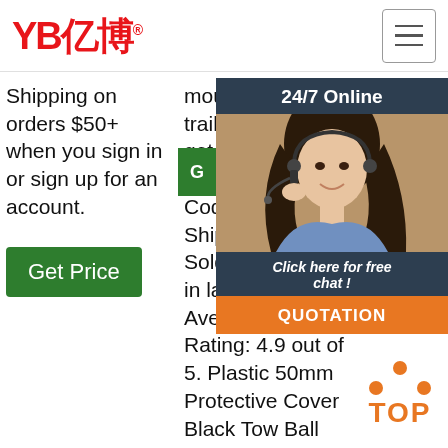[Figure (logo): YB亿博 logo in red with registered trademark symbol]
[Figure (infographic): Hamburger menu icon button in top right]
Shipping on orders $50+ when you sign in or sign up for an account.
Get Price
mount pump trailer ideas and get free shipping. STAFF PICK . Code. Free Shipping . 58 Sold transactions in last 6 months. Average Star Rating: 4.9 out of 5. Plastic 50mm Protective Cover Black Tow Ball Towing Car Towbar Towball Plastic Cap . 89% of 368 recommend ...
Get Price
more coming. EN
[Figure (infographic): 24/7 Online chat widget with photo of woman with headset, Click here for free chat text, and QUOTATION orange button]
[Figure (infographic): TOP scroll-to-top button in orange with dots forming an upward arrow]